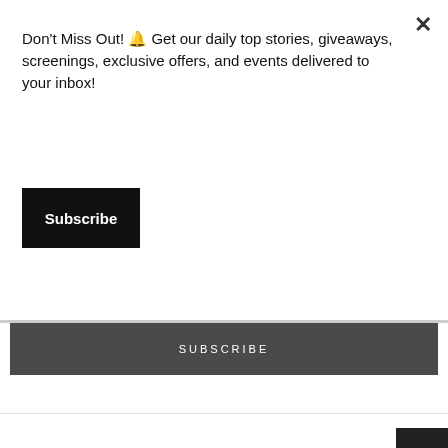Don't Miss Out! 🔔 Get our daily top stories, giveaways, screenings, exclusive offers, and events delivered to your inbox!
Subscribe
SUBSCRIBE
×